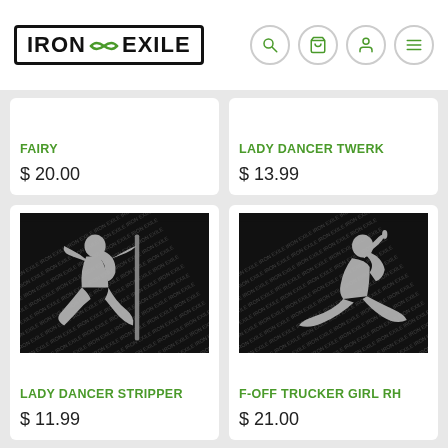[Figure (logo): Iron Exile logo in black border box with green infinity-like icon]
FAIRY
$ 20.00
LADY DANCER TWERK
$ 13.99
[Figure (photo): Metal silhouette cutout of a lady dancer stripper figure on black branded background]
LADY DANCER STRIPPER
$ 11.99
[Figure (photo): Metal silhouette cutout of a trucker girl figure on black branded background]
F-OFF TRUCKER GIRL RH
$ 21.00